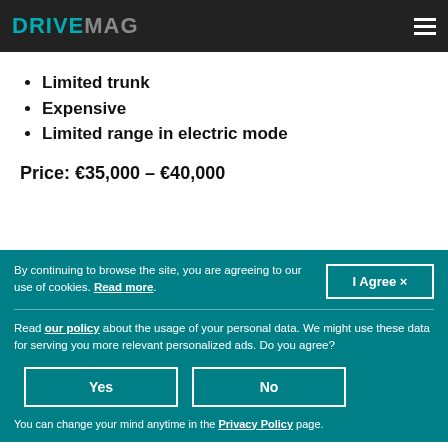DRIVEMAG
Limited trunk
Expensive
Limited range in electric mode
Price: €35,000 – €40,000
By continuing to browse the site, you are agreeing to our use of cookies. Read more.
I Agree ×
Read our policy about the usage of your personal data. We might use these data for serving you more relevant personalized ads. Do you agree?
Yes
No
You can change your mind anytime in the Privacy Policy page.